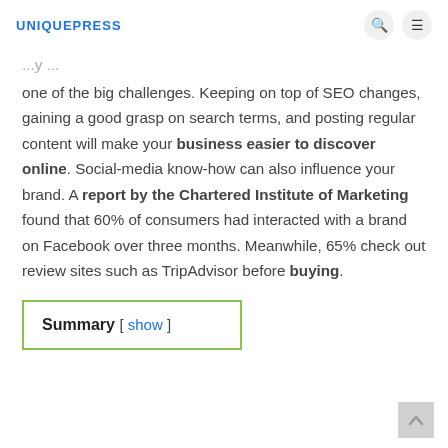UNIQUEPRESS
one of the big challenges. Keeping on top of SEO changes, gaining a good grasp on search terms, and posting regular content will make your business easier to discover online. Social-media know-how can also influence your brand. A report by the Chartered Institute of Marketing found that 60% of consumers had interacted with a brand on Facebook over three months. Meanwhile, 65% check out review sites such as TripAdvisor before buying.
Summary [ show ]